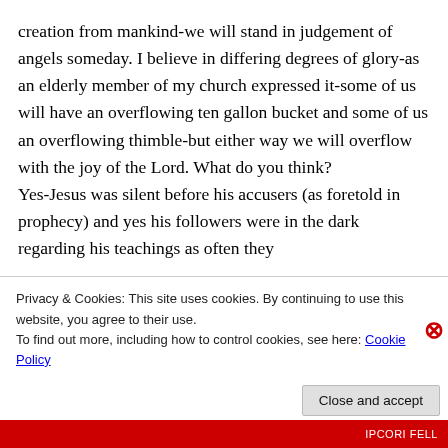creation from mankind-we will stand in judgement of angels someday. I believe in differing degrees of glory-as an elderly member of my church expressed it-some of us will have an overflowing ten gallon bucket and some of us an overflowing thimble-but either way we will overflow with the joy of the Lord. What do you think?
Yes-Jesus was silent before his accusers (as foretold in prophecy) and yes his followers were in the dark regarding his teachings as often they
Privacy & Cookies: This site uses cookies. By continuing to use this website, you agree to their use.
To find out more, including how to control cookies, see here: Cookie Policy
Close and accept